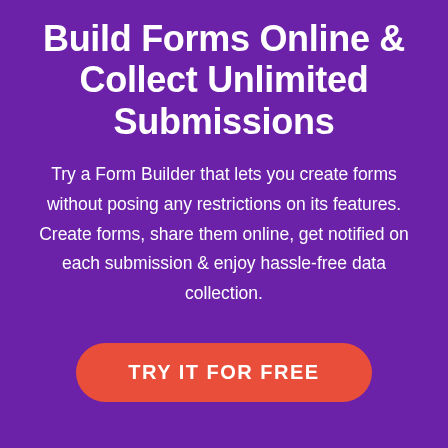Build Forms Online & Collect Unlimited Submissions
Try a Form Builder that lets you create forms without posing any restrictions on its features. Create forms, share them online, get notified on each submission & enjoy hassle-free data collection.
TRY IT FOR FREE